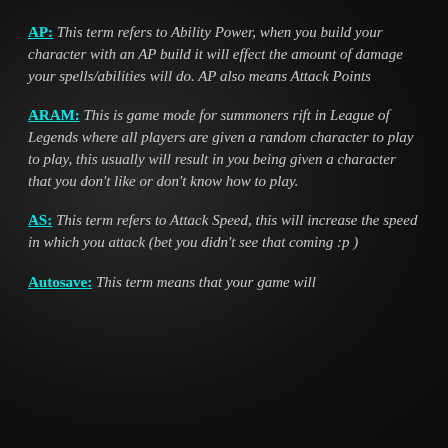AP: This term refers to Ability Power, when you build your character with an AP build it will effect the amount of damage your spells/abilities will do. AP also means Attack Points
ARAM: This is game mode for summoners rift in League of Legends where all players are given a random character to play to play, this usually will result in you being given a character that you don't like or don't know how to play.
AS: This term refers to Attack Speed, this will increase the speed in which you attack (bet you didn't see that coming :p )
Autosave: This term means that your game will